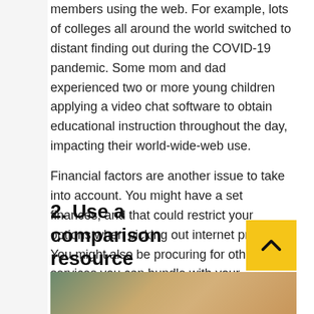Your web use will increase if you have multiple household members using the web. For example, lots of colleges all around the world switched to distant finding out during the COVID-19 pandemic. Some mom and dad experienced two or more young children applying a video chat software to obtain educational instruction throughout the day, impacting their world-wide-web use.
Financial factors are another issue to take into account. You might have a set finances, and that could restrict your options when picking out internet provider. You might also be procuring for other services you can bundle with your broadband system to help you save revenue. Figuring out your requires prior to you begin buying assures you emphasis on suitable ideas alternatively of shelling out time reviewing ideas that will not satisfy your utilization calls for or in shape your funds.
2. Use a comparison resource
[Figure (photo): Bottom portion of a photo showing a person with blonde hair, partially visible at the bottom of the page]